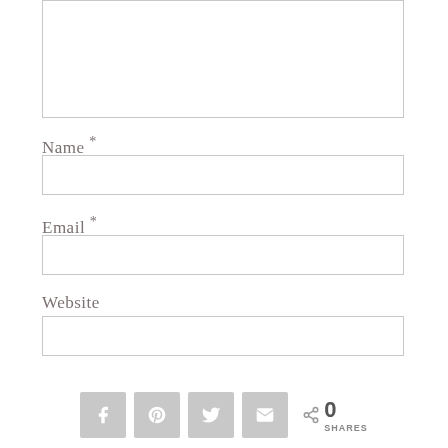[Figure (screenshot): Comment text area input box, empty, with light grey border]
Name *
[Figure (screenshot): Name input field, empty, with light grey border]
Email *
[Figure (screenshot): Email input field, empty, with light grey border]
Website
[Figure (screenshot): Website input field, empty, with light grey border]
[Figure (infographic): Social share bar with Facebook, Pinterest, Twitter, Email icons and share count showing 0 SHARES]